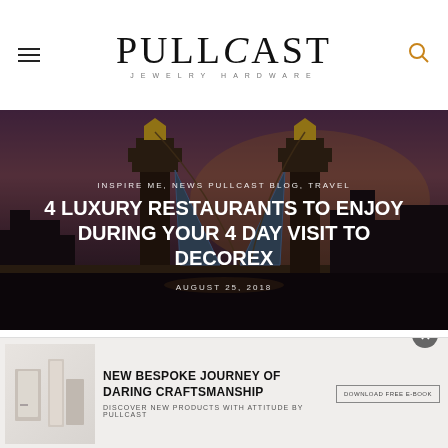PULLCAST JEWELRY HARDWARE
[Figure (photo): Hero image of London Tower Bridge at dusk with purple/orange sky, overlaid with article title and metadata]
INSPIRE ME, NEWS PULLCAST BLOG, TRAVEL
4 LUXURY RESTAURANTS TO ENJOY DURING YOUR 4 DAY VISIT TO DECOREX
AUGUST 25, 2018
[Figure (infographic): Advertisement banner: New Bespoke Journey of Daring Craftsmanship — Discover new products with attitude by Pullcast, with product images and download button]